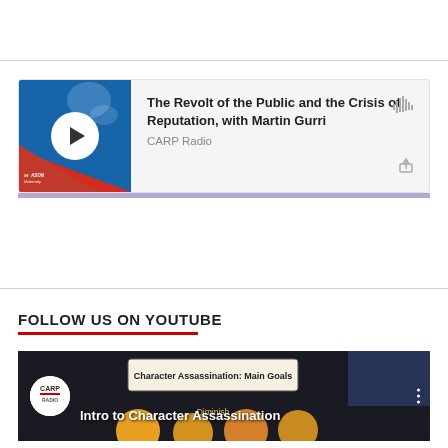[Figure (screenshot): Podcast card for 'The Revolt of the Public and the Crisis of Reputation, with Martin Gurri' on CARP Radio, with a blue/red thumbnail showing a play button, waveform icon, share icon, and purple progress bar.]
The Revolt of the Public and the Crisis of Reputation, with Martin Gurri
CARP Radio
FOLLOW US ON YOUTUBE
[Figure (screenshot): YouTube video thumbnail showing 'Intro to Character Assassination' with CARP logo, a diagram titled 'Character Assassination: Main Goals' with 'Diminish' visible, and colorful circular elements on a dark background.]